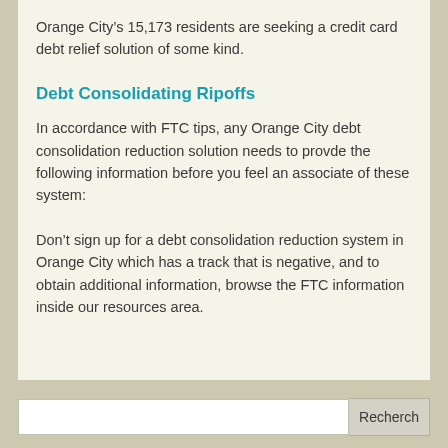Orange City's 15,173 residents are seeking a credit card debt relief solution of some kind.
Debt Consolidating Ripoffs
In accordance with FTC tips, any Orange City debt consolidation reduction solution needs to provde the following information before you feel an associate of these system:
Don't sign up for a debt consolidation reduction system in Orange City which has a track that is negative, and to obtain additional information, browse the FTC information inside our resources area.